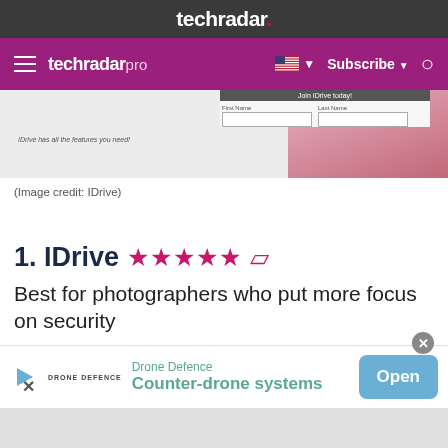techradar.
techradar pro  Subscribe
[Figure (screenshot): IDrive signup form screenshot with 'Join IDrive today!' banner, First Name and Last Name fields, and caption 'IDrive has all the features you need!']
(Image credit: IDrive)
1. IDrive ★★★★½
Best for photographers who put more focus on security
[Figure (screenshot): Advertisement banner: Drone Defence - Counter-drone systems with Open button]